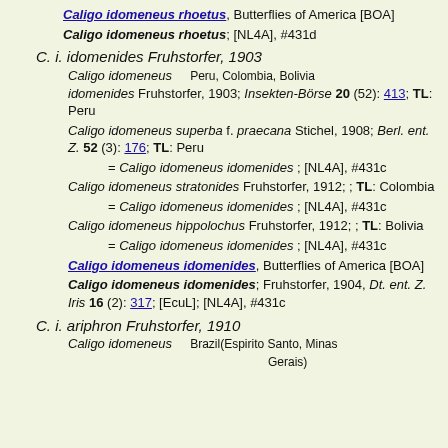Caligo idomeneus rhoetus, Butterflies of America [BOA]
Caligo idomeneus rhoetus; [NL4A], #431d
C. i. idomenides Fruhstorfer, 1903
Caligo idomeneus idomenides Fruhstorfer, 1903; Insekten-Börse 20 (52): 413; TL: Peru   [Peru, Colombia, Bolivia]
Caligo idomeneus superba f. praecana Stichel, 1908; Berl. ent. Z. 52 (3): 176; TL: Peru
= Caligo idomeneus idomenides ; [NL4A], #431c
Caligo idomeneus stratonides Fruhstorfer, 1912; ; TL: Colombia
= Caligo idomeneus idomenides ; [NL4A], #431c
Caligo idomeneus hippolochus Fruhstorfer, 1912; ; TL: Bolivia
= Caligo idomeneus idomenides ; [NL4A], #431c
Caligo idomeneus idomenides, Butterflies of America [BOA]
Caligo idomeneus idomenides; Fruhstorfer, 1904, Dt. ent. Z. Iris 16 (2): 317; [EcuL]; [NL4A], #431c
C. i. ariphron Fruhstorfer, 1910
Caligo idomeneus   Brazil(Espirito Santo, Minas Gerais)